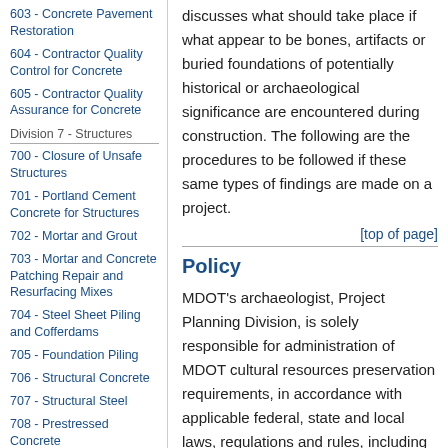603 - Concrete Pavement Restoration
604 - Contractor Quality Control for Concrete
605 - Contractor Quality Assurance for Concrete
Division 7 - Structures
700 - Closure of Unsafe Structures
701 - Portland Cement Concrete for Structures
702 - Mortar and Grout
703 - Mortar and Concrete Patching Repair and Resurfacing Mixes
704 - Steel Sheet Piling and Cofferdams
705 - Foundation Piling
706 - Structural Concrete
707 - Structural Steel
708 - Prestressed Concrete
709 - Timber Sturctures
discusses what should take place if what appear to be bones, artifacts or buried foundations of potentially historical or archaeological significance are encountered during construction. The following are the procedures to be followed if these same types of findings are made on a project.
[top of page]
Policy
MDOT’s archaeologist, Project Planning Division, is solely responsible for administration of MDOT cultural resources preservation requirements, in accordance with applicable federal, state and local laws, regulations and rules, including the National Environmental Protection Act (NEPA) and the National